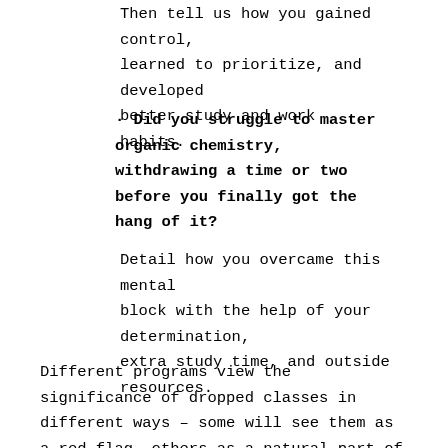Then tell us how you gained control, learned to prioritize, and developed better study and work habits.
· Did you struggle to master organic chemistry, withdrawing a time or two before you finally got the hang of it?
Detail how you overcame this mental block with the help of your determination, extra study time, and outside resources.
Different programs view the significance of dropped classes in different ways – some will see them as a red flag, others as a natural part of a student's academic career. In either case, if you can address the challenges or